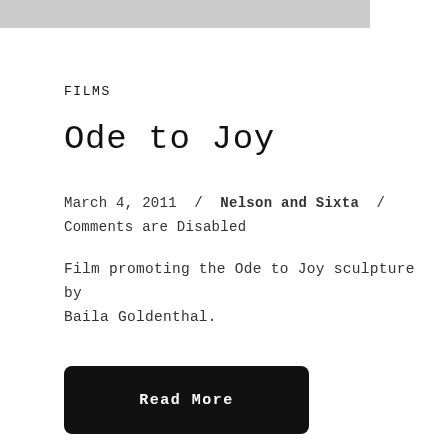[Figure (photo): Partial grey image strip at top of page]
FILMS
Ode to Joy
March 4, 2011  /  Nelson and Sixta  /  Comments are Disabled
Film promoting the Ode to Joy sculpture by Baila Goldenthal.
Read More